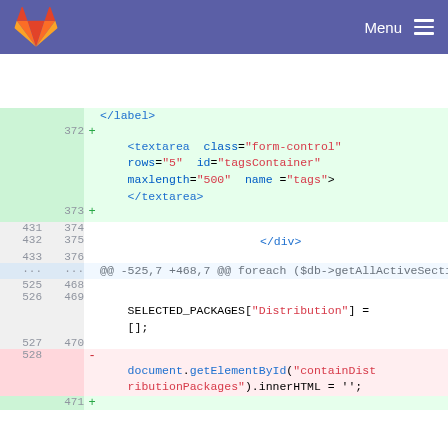GitLab Menu
[Figure (screenshot): Git diff view showing HTML and JavaScript code changes. Added lines (green background) show a textarea element with class form-control, rows=5, id=tagsContainer, maxlength=500, name=tags, and a closing div. Context lines show closing divs and a hunk header for foreach ($db->getAllActiveSectionParent() as $s). More context lines show blank lines and SELECTED_PACKAGES["Distribution"] = []; A deleted line (red background) shows document.getElementById("containDistributionPackages").innerHTML = '';]